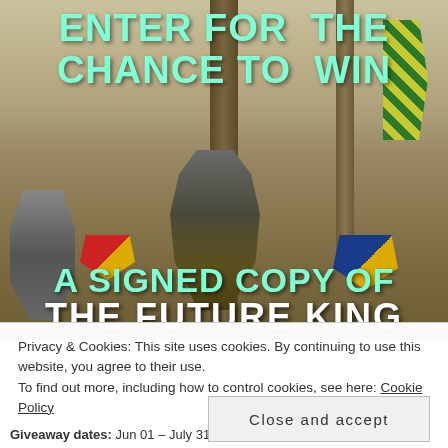[Figure (illustration): Medieval knights battle scene painting with armored knights fighting with swords, shields (red/yellow and blue), and a checkered banner on the right. Trees in background. Text overlay reads 'ENTER FOR THE CHANCE TO WIN' at top in mint/aquamarine color, and 'A SIGNED COPY OF THE FUTURE KING' at bottom in mint and white.]
Privacy & Cookies: This site uses cookies. By continuing to use this website, you agree to their use.
To find out more, including how to control cookies, see here: Cookie Policy
Close and accept
Giveaway dates: Jun 01 – July 31, 2016